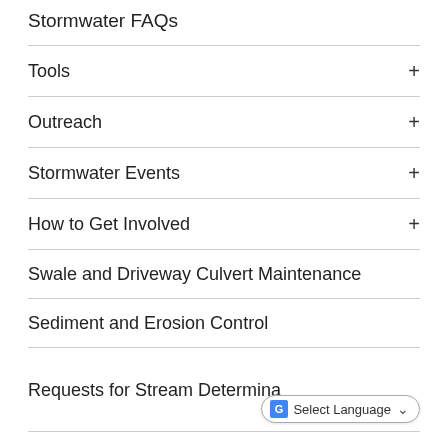Stormwater FAQs
Tools +
Outreach +
Stormwater Events +
How to Get Involved +
Swale and Driveway Culvert Maintenance
Sediment and Erosion Control
Requests for Stream Determina...